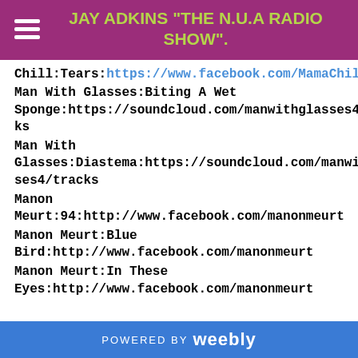JAY ADKINS "THE N.U.A RADIO SHOW".
Chill:Tears:https://www.facebook.com/MamaChill
Man With Glasses:Biting A Wet Sponge:https://soundcloud.com/manwithglasses4/tracks
Man With Glasses:Diastema:https://soundcloud.com/manwithglasses4/tracks
Manon Meurt:94:http://www.facebook.com/manonmeurt
Manon Meurt:Blue Bird:http://www.facebook.com/manonmeurt
Manon Meurt:In These Eyes:http://www.facebook.com/manonmeurt
POWERED BY weebly